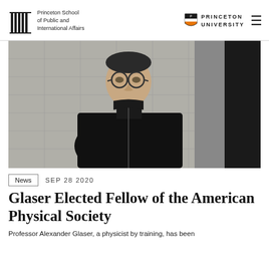Princeton School of Public and International Affairs | PRINCETON UNIVERSITY
[Figure (photo): Portrait photo of Professor Alexander Glaser, a man wearing round glasses and a black jacket, standing against a white tiled wall with a dark element on the right]
News   SEP 28 2020
Glaser Elected Fellow of the American Physical Society
Professor Alexander Glaser, a physicist by training, has been